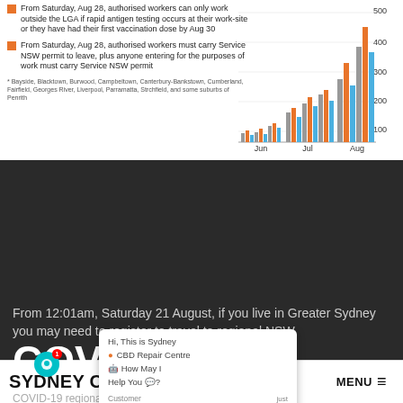From Saturday, Aug 28, authorised workers can only work outside the LGA if rapid antigen testing occurs at their work-site or they have had their first vaccination dose by Aug 30
From Saturday, Aug 28, authorised workers must carry Service NSW permit to leave, plus anyone entering for the purposes of work must carry Service NSW permit
* Bayside, Blacktown, Burwood, Campbeltown, Canterbury-Bankstown, Cumberland, Fairfield, Georges River, Liverpool, Parramatta, Strchfield, and some suburbs of Penrith
[Figure (bar-chart): COVID cases chart Jun-Aug]
COVID-19 REGIONAL TRAVEL REGISTRATION
From 12:01am, Saturday 21 August, if you live in Greater Sydney you may need to register to travel to regional NSW.
COVID-19 regional travel registration
SYDNEY CBD REPAIR CENTRE MENU